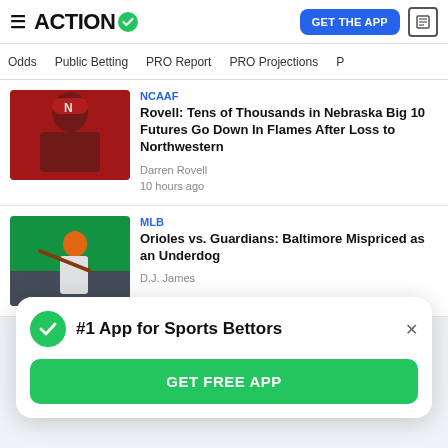ACTION
Odds | Public Betting | PRO Report | PRO Projections
[Figure (photo): Nebraska football coach in red cap and uniform]
NCAAF
Rovell: Tens of Thousands in Nebraska Big 10 Futures Go Down In Flames After Loss to Northwestern
Darren Rovell
10 hours ago
[Figure (photo): Baltimore Orioles baseball player batting in orange uniform]
MLB
Orioles vs. Guardians: Baltimore Mispriced as an Underdog
D.J. James
#1 App for Sports Bettors
GET FREE APP